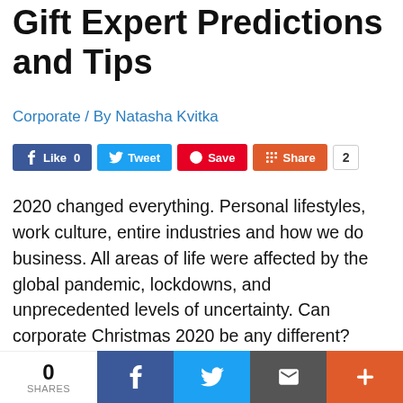Gift Expert Predictions and Tips
Corporate / By Natasha Kvitka
2020 changed everything. Personal lifestyles, work culture, entire industries and how we do business. All areas of life were affected by the global pandemic, lockdowns, and unprecedented levels of uncertainty. Can corporate Christmas 2020 be any different?
While this year is starting to wind down and we look toward the approaching holiday season, questions about winter festive celebrations are coming into focus. Gift Baskets Overseas has collected its years of expertise in corporate gifting to try and predict
0 SHARES